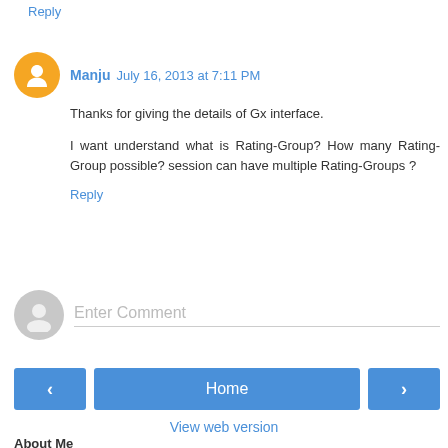Reply
Manju  July 16, 2013 at 7:11 PM
Thanks for giving the details of Gx interface.

I want understand what is Rating-Group? How many Rating-Group possible? session can have multiple Rating-Groups ?

Reply
Enter Comment
Home
View web version
About Me